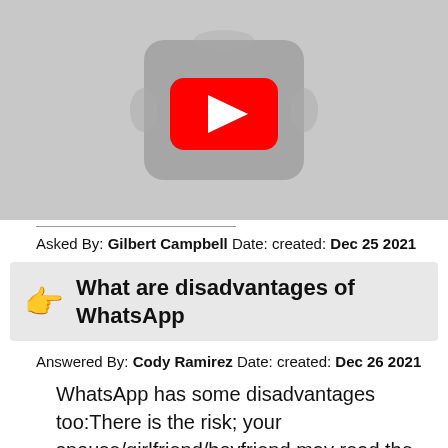[Figure (screenshot): YouTube video thumbnail placeholder showing a gray background with a YouTube play button (red rectangle with white triangle) in the center]
Asked By: Gilbert Campbell Date: created: Dec 25 2021
What are disadvantages of WhatsApp
Answered By: Cody Ramirez Date: created: Dec 26 2021
WhatsApp has some disadvantages too:There is the risk; your spouse/girlfriend/boyfriend may read the messages.It can be not very